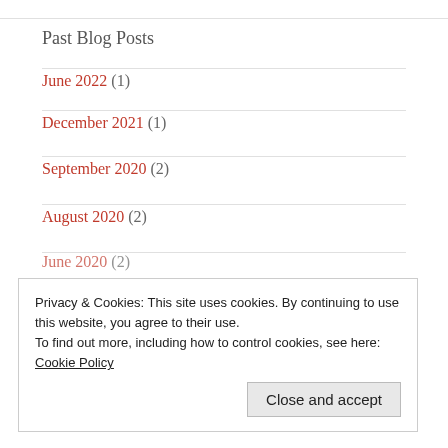Past Blog Posts
June 2022 (1)
December 2021 (1)
September 2020 (2)
August 2020 (2)
June 2020 (2)
Privacy & Cookies: This site uses cookies. By continuing to use this website, you agree to their use.
To find out more, including how to control cookies, see here: Cookie Policy
Close and accept